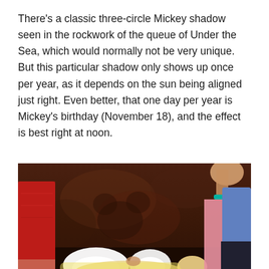There's a classic three-circle Mickey shadow seen in the rockwork of the queue of Under the Sea, which would normally not be very unique. But this particular shadow only shows up once per year, as it depends on the sun being aligned just right. Even better, that one day per year is Mickey's birthday (November 18), and the effect is best right at noon.
[Figure (photo): Photo showing people inside a rocky cave or queue area, with bright sunlight streaming in from below creating a light pattern on the ground. A person in a red patterned dress is visible on the left, and another person in a blue top with a pink towel and teal wristband is visible on the right.]